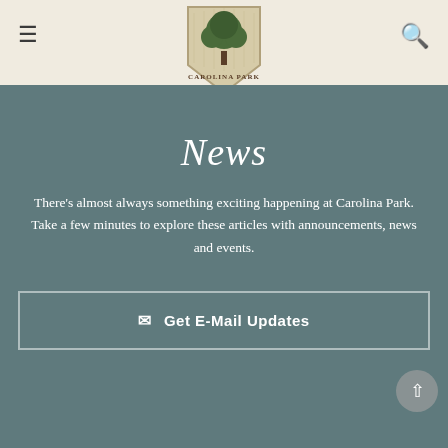[Figure (logo): Carolina Park logo — shield shape with a tree illustration and 'CAROLINA PARK' text]
News
There's almost always something exciting happening at Carolina Park. Take a few minutes to explore these articles with announcements, news and events.
✉ Get E-Mail Updates